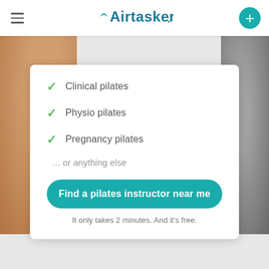Airtasker
Clinical pilates
Physio pilates
Pregnancy pilates
... or anything else
Find a pilates instructor near me
It only takes 2 minutes. And it's free.